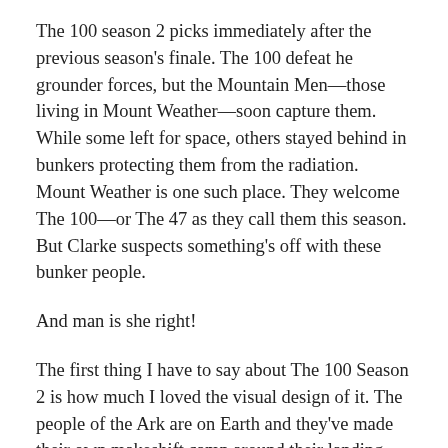The 100 season 2 picks immediately after the previous season's finale. The 100 defeat he grounder forces, but the Mountain Men—those living in Mount Weather—soon capture them. While some left for space, others stayed behind in bunkers protecting them from the radiation. Mount Weather is one such place. They welcome The 100—or The 47 as they call them this season. But Clarke suspects something's off with these bunker people.
And man is she right!
The first thing I have to say about The 100 Season 2 is how much I loved the visual design of it. The people of the Ark are on Earth and they've made their own makeshift camp around their landing zone, the look of it an amped up version of The 100 camp, with makeshift structures but a badass electric fence and gate. Mount Weather has a